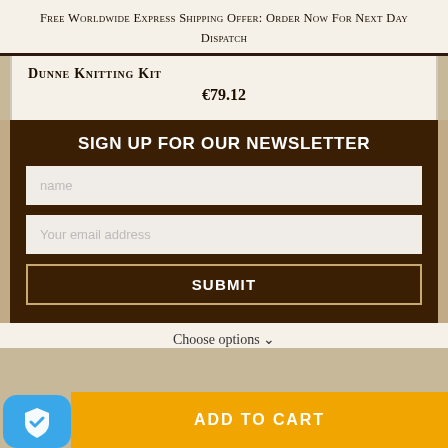Free Worldwide Express Shipping Offer: Order Now For Next Day Dispatch
Dunne Knitting Kit
€79.12
SIGN UP FOR OUR NEWSLETTER
name
Your email address
SUBMIT
Choose options ∨
ADD TO CART